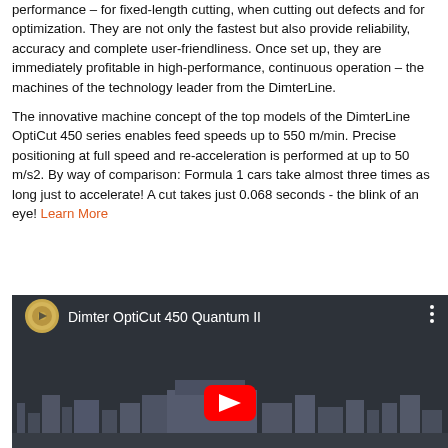performance – for fixed-length cutting, when cutting out defects and for optimization. They are not only the fastest but also provide reliability, accuracy and complete user-friendliness. Once set up, they are immediately profitable in high-performance, continuous operation – the machines of the technology leader from the DimterLine.
The innovative machine concept of the top models of the DimterLine OptiCut 450 series enables feed speeds up to 550 m/min. Precise positioning at full speed and re-acceleration is performed at up to 50 m/s2. By way of comparison: Formula 1 cars take almost three times as long just to accelerate! A cut takes just 0.068 seconds - the blink of an eye! Learn More
[Figure (screenshot): YouTube video thumbnail for 'Dimter OptiCut 450 Quantum II' showing industrial woodworking machinery on a grey background with a YouTube play button overlay.]